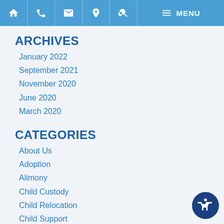Navigation bar with home, phone, email, location, search, menu icons
ARCHIVES
January 2022
September 2021
November 2020
June 2020
March 2020
CATEGORIES
About Us
Adoption
Alimony
Child Custody
Child Relocation
Child Support
Collaborative Divorce
Divorce
Divorce Planning
Family Business
Family Law